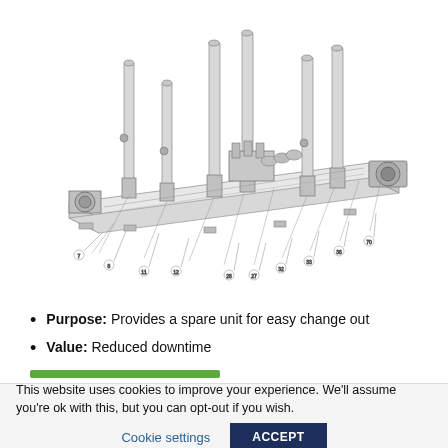[Figure (engineering-diagram): Isometric engineering diagram of a long mechanical assembly with multiple vertical hydraulic or pneumatic cylinders/rods mounted on a horizontal rail/beam, with numbered callout lines pointing to various components, and a motor/actuator unit at the right end.]
Purpose: Provides a spare unit for easy change out
Value: Reduced downtime
This website uses cookies to improve your experience. We'll assume you're ok with this, but you can opt-out if you wish.